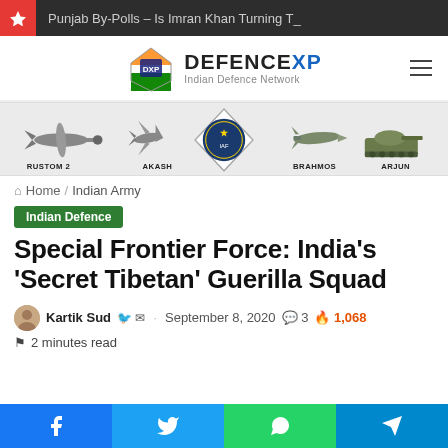Punjab By-Polls – Is Imran Khan Turning T_
[Figure (logo): DefenceXP – Indian Defence Network logo with Indian flag motif shield icon]
[Figure (infographic): Defence weapons banner showing Rustom 2 drone, Akash missile, central IAF/defence emblem, BrahMos missile, and Arjun tank]
Home / Indian Army
Indian Defence
Special Frontier Force: India's 'Secret Tibetan' Guerilla Squad
Kartik Sud · September 8, 2020 · 3 comments · 1,068 hot
2 minutes read